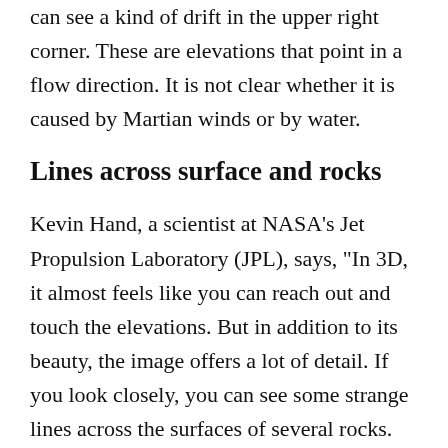can see a kind of drift in the upper right corner. These are elevations that point in a flow direction. It is not clear whether it is caused by Martian winds or by water.
Lines across surface and rocks
Kevin Hand, a scientist at NASA's Jet Propulsion Laboratory (JPL), says, "In 3D, it almost feels like you can reach out and touch the elevations. But in addition to its beauty, the image offers a lot of detail. If you look closely, you can see some strange lines across the surfaces of several rocks. Are these just from wind and dust blowing over the rocks, or could these features tell the